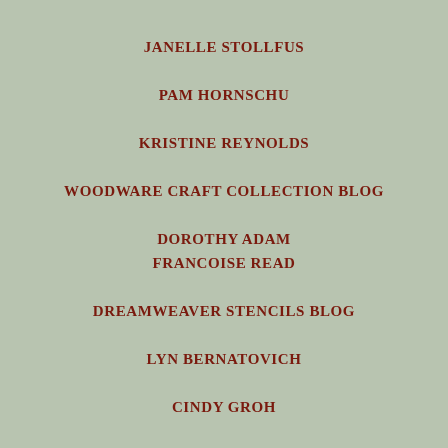JANELLE STOLLFUS
PAM HORNSCHU
KRISTINE REYNOLDS
WOODWARE CRAFT COLLECTION BLOG
DOROTHY ADAM
FRANCOISE READ
DREAMWEAVER STENCILS BLOG
LYN BERNATOVICH
CINDY GROH